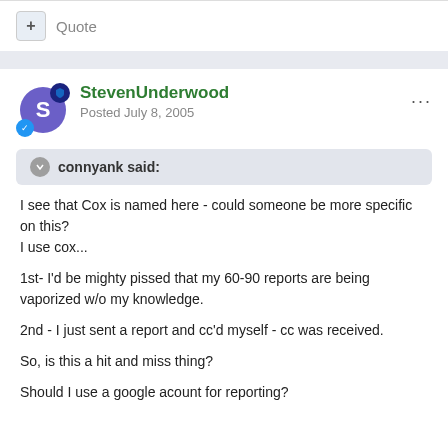+ Quote
StevenUnderwood
Posted July 8, 2005
connyank said:
I see that Cox is named here - could someone be more specific on this?
I use cox...

1st- I'd be mighty pissed that my 60-90 reports are being vaporized w/o my knowledge.

2nd - I just sent a report and cc'd myself - cc was received.

So, is this a hit and miss thing?

Should I use a google acount for reporting?